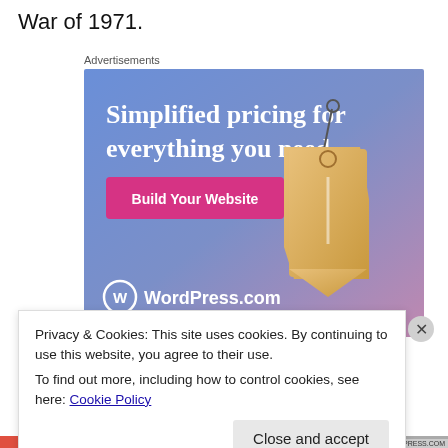War of 1971.
Advertisements
[Figure (illustration): WordPress.com advertisement banner with gradient blue-purple background, text 'Simplified pricing for everything you need.', a pink 'Build Your Website' button, a decorative price tag graphic, and the WordPress.com logo at the bottom.]
Privacy & Cookies: This site uses cookies. By continuing to use this website, you agree to their use.
To find out more, including how to control cookies, see here: Cookie Policy